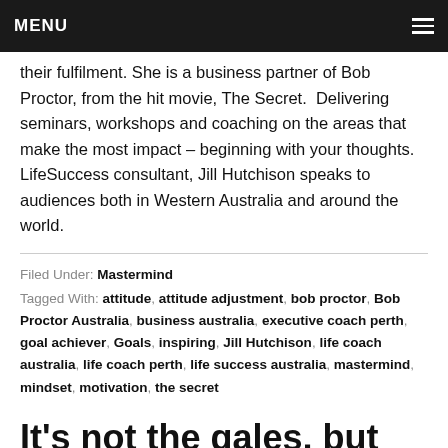MENU
their fulfilment. She is a business partner of Bob Proctor, from the hit movie, The Secret.  Delivering seminars, workshops and coaching on the areas that make the most impact – beginning with your thoughts. LifeSuccess consultant, Jill Hutchison speaks to audiences both in Western Australia and around the world.
Filed Under: Mastermind
Tagged With: attitude, attitude adjustment, bob proctor, Bob Proctor Australia, business australia, executive coach perth, goal achiever, Goals, inspiring, Jill Hutchison, life coach australia, life coach perth, life success australia, mastermind, mindset, motivation, the secret
It's not the gales, but the set